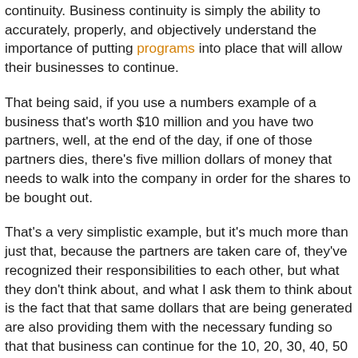continuity. Business continuity is simply the ability to accurately, properly, and objectively understand the importance of putting programs into place that will allow their businesses to continue.
That being said, if you use a numbers example of a business that's worth $10 million and you have two partners, well, at the end of the day, if one of those partners dies, there's five million dollars of money that needs to walk into the company in order for the shares to be bought out.
That's a very simplistic example, but it's much more than just that, because the partners are taken care of, they've recognized their responsibilities to each other, but what they don't think about, and what I ask them to think about is the fact that that same dollars that are being generated are also providing them with the necessary funding so that that business can continue for the 10, 20, 30, 40, 50 people that work there. The implications of this are huge, much